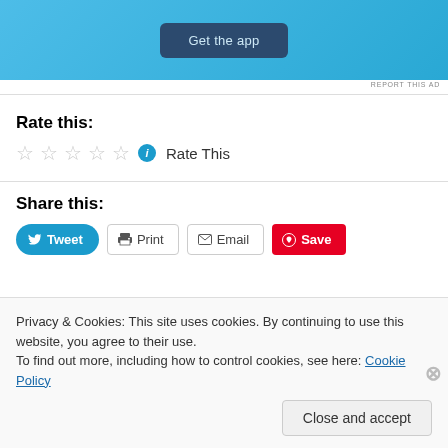[Figure (other): App advertisement banner with blue background and 'Get the app' button]
REPORT THIS AD
Rate this:
☆☆☆☆☆ ℹ Rate This
Share this:
Tweet  Print  Email  Save
Privacy & Cookies: This site uses cookies. By continuing to use this website, you agree to their use.
To find out more, including how to control cookies, see here: Cookie Policy
Close and accept